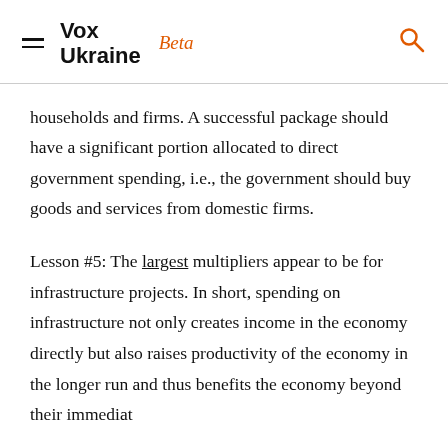Vox Ukraine Beta
households and firms. A successful package should have a significant portion allocated to direct government spending, i.e., the government should buy goods and services from domestic firms.
Lesson #5: The largest multipliers appear to be for infrastructure projects. In short, spending on infrastructure not only creates income in the economy directly but also raises productivity of the economy in the longer run and thus benefits the economy beyond their immediate...